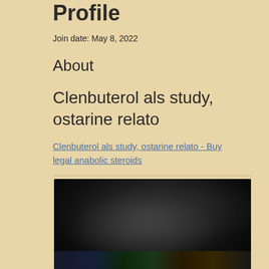Profile
Join date: May 8, 2022
About
Clenbuterol als study, ostarine relato
Clenbuterol als study, ostarine relato - Buy legal anabolic steroids
[Figure (photo): Dark blurred image, likely a product or supplement photo with colored elements at the bottom]